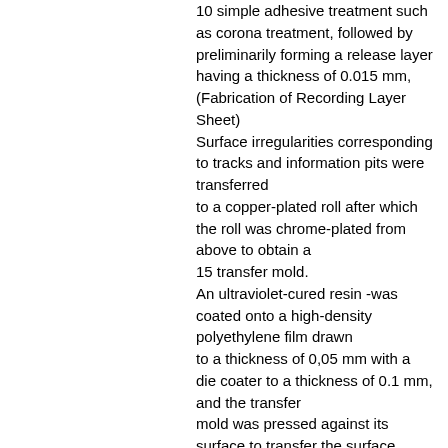10 simple adhesive treatment such as corona treatment, followed by preliminarily forming a release layer having a thickness of 0.015 mm, (Fabrication of Recording Layer Sheet) Surface irregularities corresponding to tracks and information pits were transferred to a copper-plated roll after which the roll was chrome-plated from above to obtain a 15 transfer mold. An ultraviolet-cured resin -was coated onto a high-density polyethylene film drawn to a thickness of 0,05 mm with a die coater to a thickness of 0.1 mm, and the transfer mold was pressed against its surface to transfer the surface irregularities to the surface of the ultraviolet-cured resin. 20 Next, the ultraviolet-cured resin was irradiated with ultraviolet light to cure the ultraviolet-cured resin and form tracks. Next, alumium was vacuum deposited on the tracks and a lightreflecting layer having a thickness of 60 run was fanned to obtain a playback-only type of recording